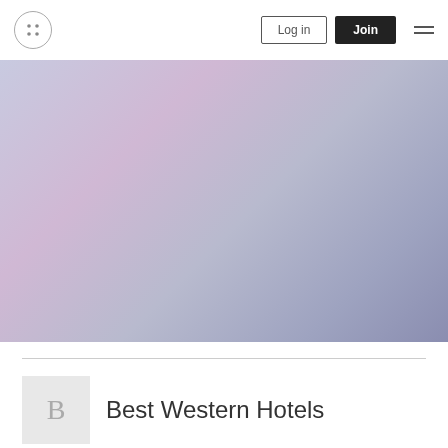Log in | Join | Menu
[Figure (photo): Blurred purple and lavender gradient background hero image, resembling a soft sky or abstract scene.]
Best Western Hotels